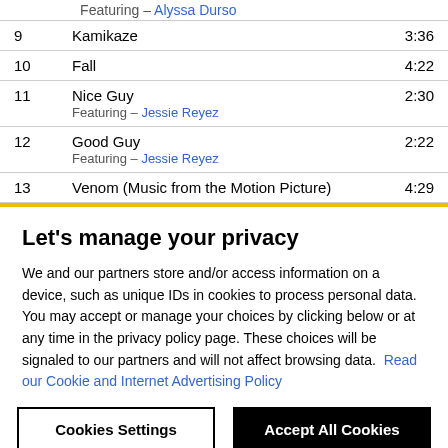| # | Title | Duration |
| --- | --- | --- |
| 9 | Kamikaze | 3:36 |
| 10 | Fall | 4:22 |
| 11 | Nice Guy
Featuring – Jessie Reyez | 2:30 |
| 12 | Good Guy
Featuring – Jessie Reyez | 2:22 |
| 13 | Venom (Music from the Motion Picture) | 4:29 |
Let's manage your privacy
We and our partners store and/or access information on a device, such as unique IDs in cookies to process personal data. You may accept or manage your choices by clicking below or at any time in the privacy policy page. These choices will be signaled to our partners and will not affect browsing data. Read our Cookie and Internet Advertising Policy